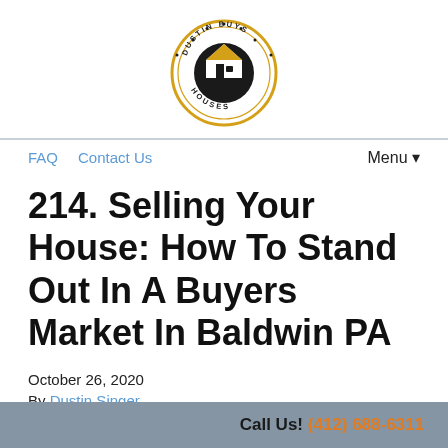[Figure (logo): Dustin Buys Houses circular logo with house icon in center, gold/black color scheme]
FAQ   Contact Us   Menu ▾
214. Selling Your House: How To Stand Out In A Buyers Market In Baldwin PA
October 26, 2020
By Dustin Singer
Call Us! (412) 688-6311